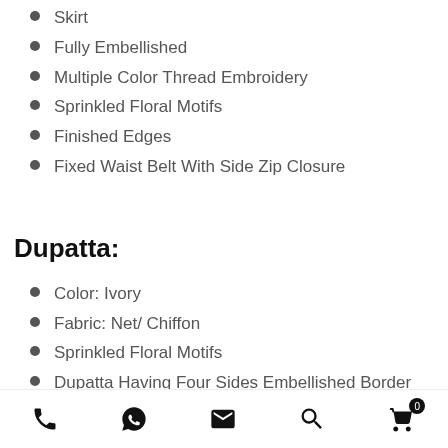Skirt
Fully Embellished
Multiple Color Thread Embroidery
Sprinkled Floral Motifs
Finished Edges
Fixed Waist Belt With Side Zip Closure
Dupatta:
Color: Ivory
Fabric: Net/ Chiffon
Sprinkled Floral Motifs
Dupatta Having Four Sides Embellished Border
Finished Edges
Phone | WhatsApp | Email | Search | Cart (0)